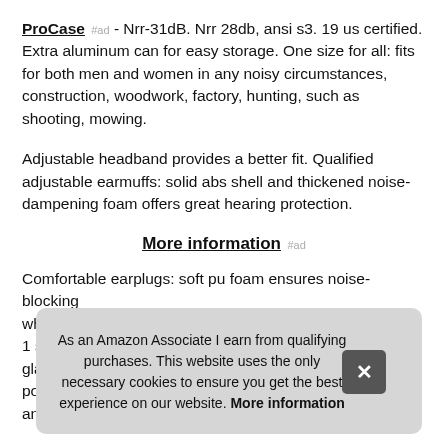ProCase #ad - Nrr-31dB. Nrr 28db, ansi s3. 19 us certified. Extra aluminum can for easy storage. One size for all: fits for both men and women in any noisy circumstances, construction, woodwork, factory, hunting, such as shooting, mowing.
Adjustable headband provides a better fit. Qualified adjustable earmuffs: solid abs shell and thickened noise-dampening foam offers great hearing protection.
More information #ad
Comfortable earplugs: soft pu foam ensures noise-blocking whi... 1 se... glas... port... and...
As an Amazon Associate I earn from qualifying purchases. This website uses the only necessary cookies to ensure you get the best experience on our website. More information